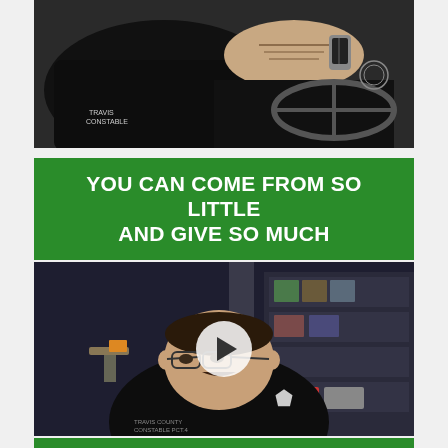[Figure (photo): Close-up photo of a person in a black Travis County Constable uniform shirt, showing their arm with a tattoo resting on a steering wheel/dashboard area, also wearing a watch.]
YOU CAN COME FROM SO LITTLE AND GIVE SO MUCH
[Figure (screenshot): Video thumbnail of a man wearing glasses and a black Travis County Constable Pct. 4 polo shirt, seated in an office with bookshelves, awards, and framed photos in the background. A white circular play button overlay is centered on the image.]